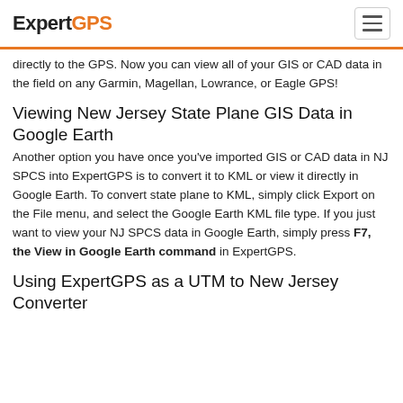ExpertGPS
directly to the GPS. Now you can view all of your GIS or CAD data in the field on any Garmin, Magellan, Lowrance, or Eagle GPS!
Viewing New Jersey State Plane GIS Data in Google Earth
Another option you have once you've imported GIS or CAD data in NJ SPCS into ExpertGPS is to convert it to KML or view it directly in Google Earth. To convert state plane to KML, simply click Export on the File menu, and select the Google Earth KML file type. If you just want to view your NJ SPCS data in Google Earth, simply press F7, the View in Google Earth command in ExpertGPS.
Using ExpertGPS as a UTM to New Jersey Converter